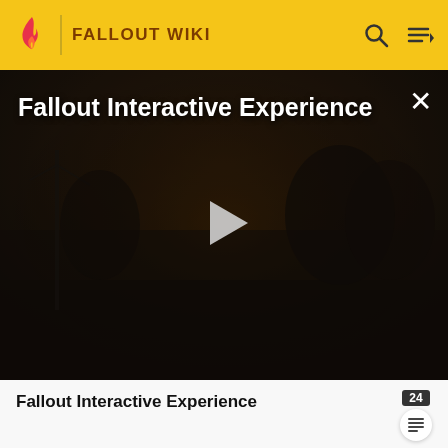FALLOUT WIKI
[Figure (screenshot): Dark post-apocalyptic video still with a play button overlay and title 'Fallout Interactive Experience' in white text. An X close button is visible in the top right corner.]
Fallout Interactive Experience
·
Back Slash
Most one handed edged weapons have the Back Slash